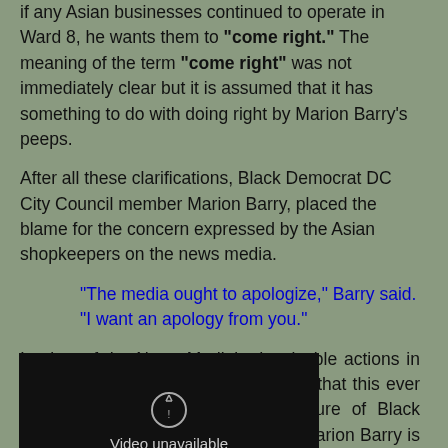if any Asian businesses continued to operate in Ward 8, he wants them to "come right." The meaning of the term "come right" was not immediately clear but it is assumed that it has something to do with doing right by Marion Barry's peeps.
After all these clarifications, Black Democrat DC City Council member Marion Barry, placed the blame for the concern expressed by the Asian shopkeepers on the news media.
"The media ought to apologize," Barry said. "I want an apology from you."
In view of the News Media's despicable actions in the Trayvon Martin case I'm shocked that this ever hit the newswires. Or that the picture of Black Democrat DC City Council member Marion Barry is not a glamour shot from 30 years ago.
[Figure (other): Video player showing 'Video unavailable' message with a dark background and an icon.]